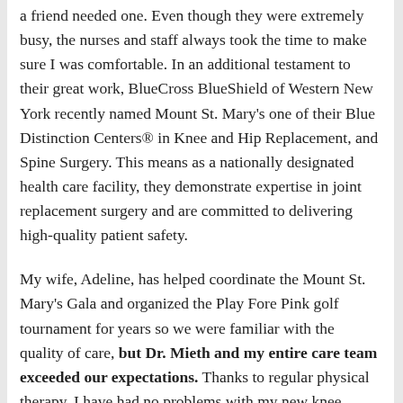a friend needed one. Even though they were extremely busy, the nurses and staff always took the time to make sure I was comfortable. In an additional testament to their great work, BlueCross BlueShield of Western New York recently named Mount St. Mary's one of their Blue Distinction Centers® in Knee and Hip Replacement, and Spine Surgery. This means as a nationally designated health care facility, they demonstrate expertise in joint replacement surgery and are committed to delivering high-quality patient safety.
My wife, Adeline, has helped coordinate the Mount St. Mary's Gala and organized the Play Fore Pink golf tournament for years so we were familiar with the quality of care, but Dr. Mieth and my entire care team exceeded our expectations. Thanks to regular physical therapy, I have had no problems with my new knee. Adeline and I are very active and I am so grateful we are able to continue being on the move.